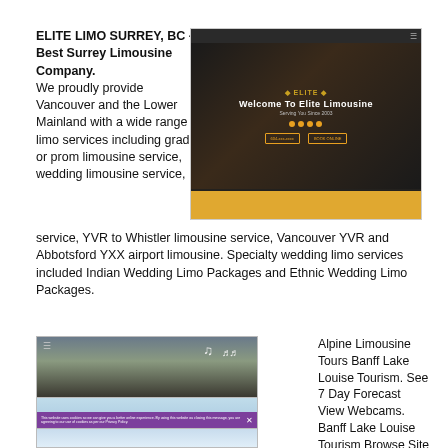ELITE LIMO SURREY, BC - Best Surrey Limousine Company. We proudly provide Vancouver and the Lower Mainland with a wide range of limo services including grad or prom limousine service, wedding limousine service, YVR to Whistler limousine service, Vancouver YVR and Abbotsford YXX airport limousine. Specialty wedding limo services included Indian Wedding Limo Packages and Ethnic Wedding Limo Packages.
[Figure (screenshot): Screenshot of Elite Limousine website showing welcome banner with dark background and people in a limo, with gold accent buttons]
[Figure (screenshot): Screenshot of Alpine Limousine Tours Banff Lake Louise Tourism website showing mountain landscape and glacier imagery with purple cookie consent bar]
Alpine Limousine Tours Banff Lake Louise Tourism. See 7 Day Forecast View Webcams. Banff Lake Louise Tourism Browse Site Menu Banff Lake Louise Tourism Your Banff Moments Current